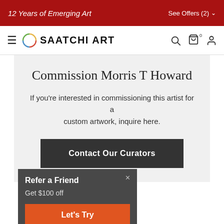12 Years of Emerging Art   See Offers (2)
[Figure (logo): Saatchi Art logo with colorful circle icon and bold text 'SAATCHI ART' navigation bar with hamburger menu, search, cart, and user icons]
Commission Morris T Howard
If you're interested in commissioning this artist for a custom artwork, inquire here.
Contact Our Curators
Refer a Friend
Get $100 off
Let's Try